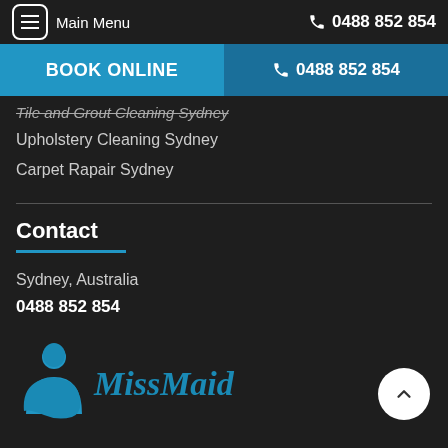Main Menu | 0488 852 854
BOOK ONLINE | 0488 852 854
Tile and Grout Cleaning Sydney
Upholstery Cleaning Sydney
Carpet Rapair Sydney
Contact
Sydney, Australia
0488 852 854
[Figure (logo): MissMaid logo with blue circular figure and text 'MissMaid']